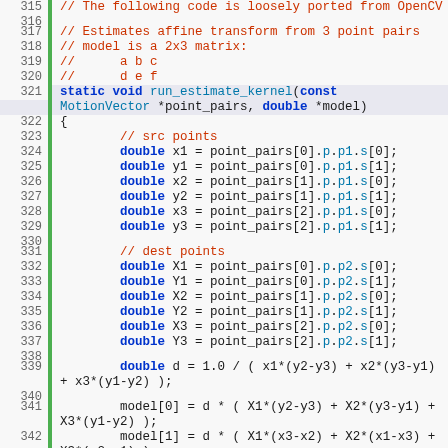315 // The following code is loosely ported from OpenCV
316 
317 // Estimates affine transform from 3 point pairs
318 // model is a 2x3 matrix:
319 //      a b c
320 //      d e f
321 static void run_estimate_kernel(const MotionVector *point_pairs, double *model)
322 {
323     // src points
324     double x1 = point_pairs[0].p.p1.s[0];
325     double y1 = point_pairs[0].p.p1.s[1];
326     double x2 = point_pairs[1].p.p1.s[0];
327     double y2 = point_pairs[1].p.p1.s[1];
328     double x3 = point_pairs[2].p.p1.s[0];
329     double y3 = point_pairs[2].p.p1.s[1];
330 
331     // dest points
332     double X1 = point_pairs[0].p.p2.s[0];
333     double Y1 = point_pairs[0].p.p2.s[1];
334     double X2 = point_pairs[1].p.p2.s[0];
335     double Y2 = point_pairs[1].p.p2.s[1];
336     double X3 = point_pairs[2].p.p2.s[0];
337     double Y3 = point_pairs[2].p.p2.s[1];
338 
339     double d = 1.0 / ( x1*(y2-y3) + x2*(y3-y1) + x3*(y1-y2) );
340 
341     model[0] = d * ( X1*(y2-y3) + X2*(y3-y1) + X3*(y1-y2) );
342     model[1] = d * ( X1*(x3-x2) + X2*(x1-x3) + X3*(x2-x1) );
343     model[2] = ...